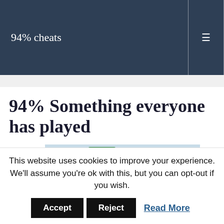94% cheats
94% Something everyone has played
[Figure (photo): Advertisement banner showing supplement bottles including Biotin and Fish Oil products from Nature's Bounty and Walgreens brands on a yellow/blue background.]
This website uses cookies to improve your experience. We'll assume you're ok with this, but you can opt-out if you wish.
Accept  Reject  Read More